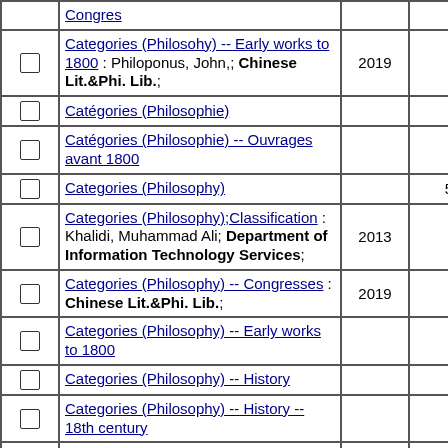|  | Subject | Year | Count |
| --- | --- | --- | --- |
| ☐ | Categories (Philosohy) -- Early works to 1800 : Philoponus, John,; Chinese Lit.&Phi. Lib.; | 2019 | 1 |
| ☐ | Catégories (Philosophie) |  | 2 |
| ☐ | Catégories (Philosophie) -- Ouvrages avant 1800 |  | 2 |
| ☐ | Categories (Philosophy) |  | 52 |
| ☐ | Categories (Philosophy);Classification : Khalidi, Muhammad Ali; Department of Information Technology Services; | 2013 | 1 |
| ☐ | Categories (Philosophy) -- Congresses : Chinese Lit.&Phi. Lib.; | 2019 | 1 |
| ☐ | Categories (Philosophy) -- Early works to 1800 |  | 6 |
| ☐ | Categories (Philosophy) -- History |  | 7 |
| ☐ | Categories (Philosophy) -- History -- 18th century |  | 4 |
| ☐ | Categories (Philosophy) -- History -- 19th century : RCHSS Library; | 1994 | 1 |
| ☐ | Category theory; homological algebra -- Categories with structure -- Double categories ...categories... |  | 2 |